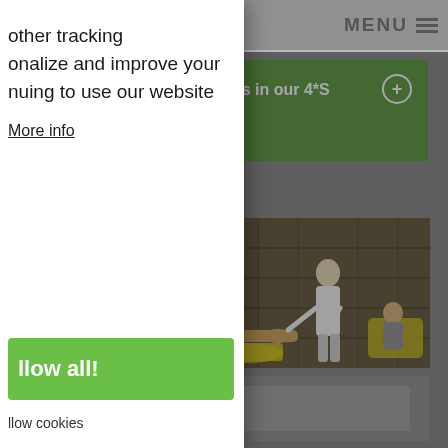[Figure (screenshot): Website header navigation bar with green logo, phone icon, DE | EN language switcher, and MENU hamburger icon on grey background]
[Figure (screenshot): Green banner reading 'Your special advantages in our 4*S Hotel & SPA:' with a plus/expand icon on the right]
[Figure (photo): Spa treatment scene showing a therapist in white performing a massage on a client, with yellow lounge chairs in background]
[Figure (photo): Bottom portion of website showing partial room/interior photos]
other tracking
onalize and improve your
nuing to use our website
More info
llow all!
llow cookies